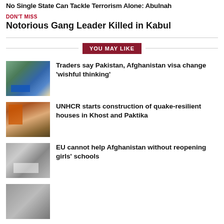No Single State Can Tackle Terrorism Alone: Abulnah
DON'T MISS
Notorious Gang Leader Killed in Kabul
YOU MAY LIKE
[Figure (photo): Aerial/road view with trucks and green mountainous terrain]
Traders say Pakistan, Afghanistan visa change 'wishful thinking'
[Figure (photo): Construction site with excavator and workers digging]
UNHCR starts construction of quake-resilient houses in Khost and Paktika
[Figure (photo): Group of people standing outside, some holding signs]
EU cannot help Afghanistan without reopening girls' schools
[Figure (photo): Partially visible image at bottom]